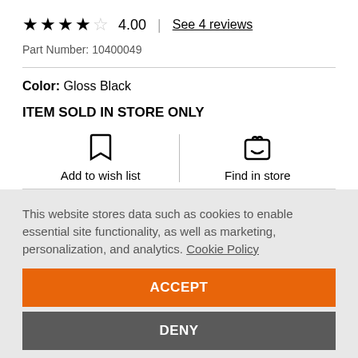★★★★☆ 4.00 | See 4 reviews
Part Number: 10400049
Color: Gloss Black
ITEM SOLD IN STORE ONLY
Add to wish list
Find in store
This website stores data such as cookies to enable essential site functionality, as well as marketing, personalization, and analytics. Cookie Policy
ACCEPT
DENY